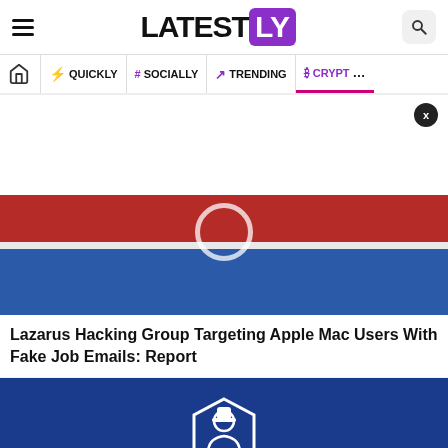LATESTLY
QUICKLY | # SOCIALLY | TRENDING | CRYPTO
[Figure (photo): North Korean flag - red stripe on top, white stripe in middle, blue stripe on bottom, with white star circle emblem]
Lazarus Hacking Group Targeting Apple Mac Users With Fake Job Emails: Report
[Figure (illustration): Blue background with white hacker/security icon showing a person with hat inside a house/shield hexagon shape]